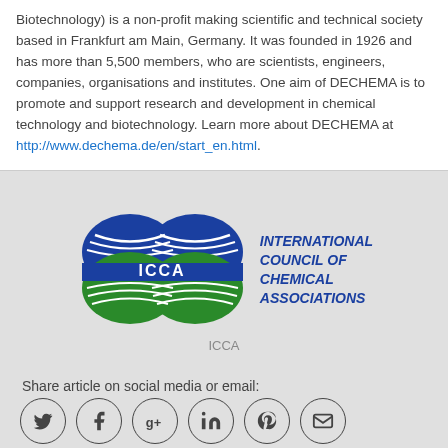Biotechnology) is a non-profit making scientific and technical society based in Frankfurt am Main, Germany. It was founded in 1926 and has more than 5,500 members, who are scientists, engineers, companies, organisations and institutes. One aim of DECHEMA is to promote and support research and development in chemical technology and biotechnology. Learn more about DECHEMA at http://www.dechema.de/en/start_en.html.
[Figure (logo): ICCA logo — International Council of Chemical Associations. Blue and green circular emblem with ICCA text, next to italic bold blue text reading INTERNATIONAL COUNCIL OF CHEMICAL ASSOCIATIONS]
ICCA
Share article on social media or email:
[Figure (other): Row of six circular social media icons: Twitter, Facebook, Google+, LinkedIn, Pinterest, Email]